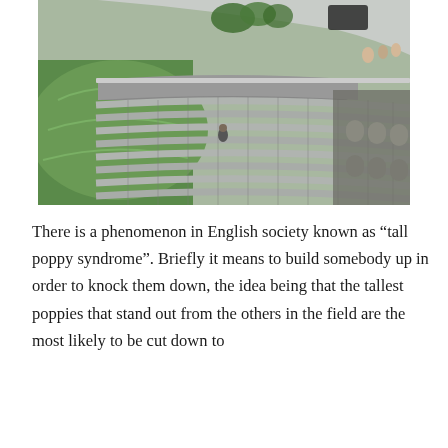[Figure (photo): Aerial view of a cricket stadium with curved rows of grey seats, mostly empty, with a green pitch and outfield visible on the left side. A single person sits in the stands in the middle distance, and spectators are visible at the top right.]
There is a phenomenon in English society known as “tall poppy syndrome”. Briefly it means to build somebody up in order to knock them down, the idea being that the tallest poppies that stand out from the others in the field are the most likely to be cut down to